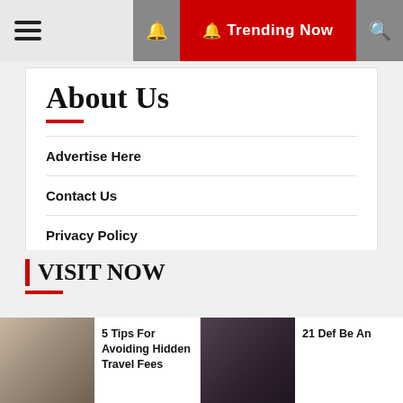☰  🔔 Trending Now 🔍
About Us
Advertise Here
Contact Us
Privacy Policy
Sitemap
| VISIT NOW
5 Tips For Avoiding Hidden Travel Fees
21 Def Be An